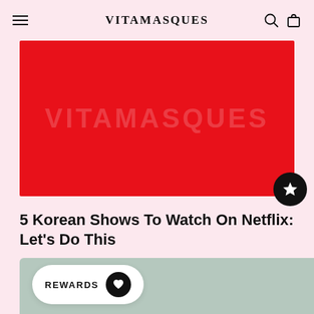VITAMASQUES
[Figure (photo): Red background image with faint VITAMASQUES text watermark]
5 Korean Shows To Watch On Netflix: Let's Do This
[Figure (other): Green/sage colored card at the bottom with a REWARDS button overlay featuring a heart icon]